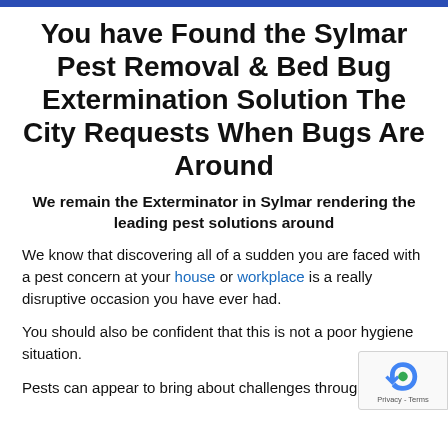You have Found the Sylmar Pest Removal & Bed Bug Extermination Solution The City Requests When Bugs Are Around
We remain the Exterminator in Sylmar rendering the leading pest solutions around
We know that discovering all of a sudden you are faced with a pest concern at your house or workplace is a really disruptive occasion you have ever had.
You should also be confident that this is not a poor hygiene situation.
Pests can appear to bring about challenges through neighbourhood infestations, not for this reason alone.